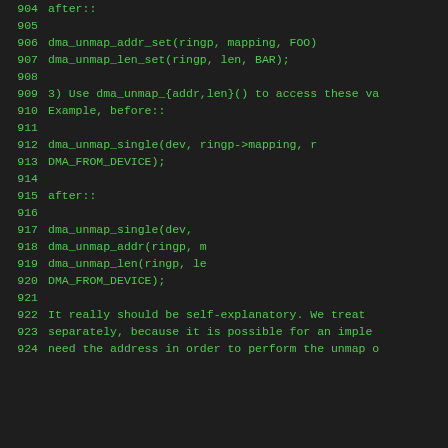904     after::
905
906             dma_unmap_addr_set(ringp, mapping, FOO)
907             dma_unmap_len_set(ringp, len, BAR);
908
909     3) Use dma_unmap_{addr,len}() to access these v
910        Example, before::
911
912             dma_unmap_single(dev, ringp->mapping, r
913                             DMA_FROM_DEVICE);
914
915        after::
916
917             dma_unmap_single(dev,
918                             dma_unmap_addr(ringp, m
919                             dma_unmap_len(ringp, le
920                             DMA_FROM_DEVICE);
921
922     It really should be self-explanatory. We treat
923     separately, because it is possible for an imple
924     need the address in order to perform the unmap o